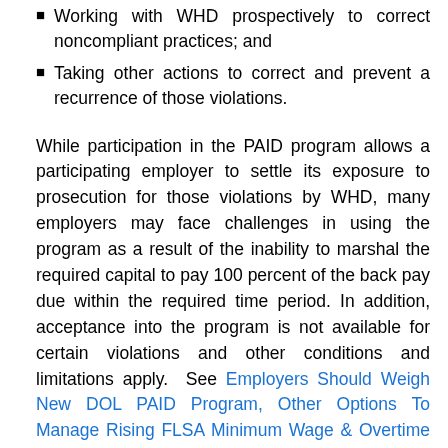Working with WHD prospectively to correct noncompliant practices; and
Taking other actions to correct and prevent a recurrence of those violations.
While participation in the PAID program allows a participating employer to settle its exposure to prosecution for those violations by WHD, many employers may face challenges in using the program as a result of the inability to marshal the required capital to pay 100 percent of the back pay due within the required time period. In addition, acceptance into the program is not available for certain violations and other conditions and limitations apply.  See Employers Should Weigh New DOL PAID Program, Other Options To Manage Rising FLSA Minimum Wage & Overtime Risks.  While employers concerned about potential existing or past violation exposures will need to